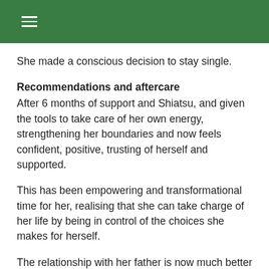She made a conscious decision to stay single.
Recommendations and aftercare
After 6 months of support and Shiatsu, and given the tools to take care of her own energy, strengthening her boundaries and now feels confident, positive, trusting of herself and supported.
This has been empowering and transformational time for her, realising that she can take charge of her life by being in control of the choices she makes for herself.
The relationship with her father is now much better